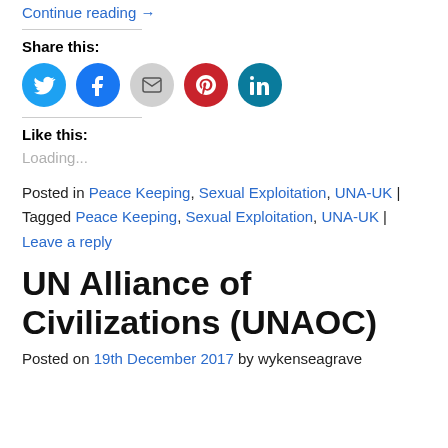Continue reading →
Share this:
[Figure (other): Social sharing icons: Twitter (blue), Facebook (blue), Email (gray), Pinterest (red), LinkedIn (teal)]
Like this:
Loading...
Posted in Peace Keeping, Sexual Exploitation, UNA-UK | Tagged Peace Keeping, Sexual Exploitation, UNA-UK | Leave a reply
UN Alliance of Civilizations (UNAOC)
Posted on 19th December 2017 by wykenseagrave